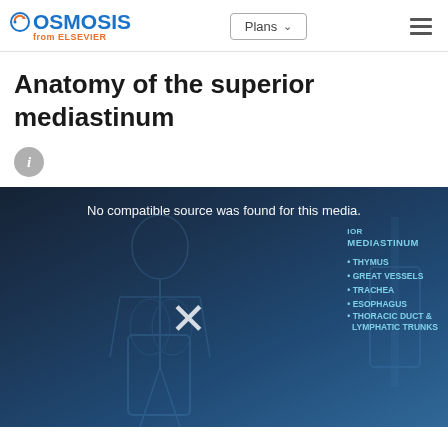[Figure (logo): Osmosis from Elsevier logo — circular arrow icon with 'OSMOSIS' in blue bold text and 'from ELSEVIER' in orange below]
Anatomy of the superior mediastinum
[Figure (screenshot): Dark blue media player showing 'No compatible source was found for this media.' message with an X icon. Background shows anatomical illustration of human torso with bullet list overlay reading: SUPERIOR MEDIASTINUM with bullets: THYMUS, GREAT VESSELS, TRACHEA, ESOPHAGUS, THORACIC DUCT & LYMPHATIC TRUNKS]